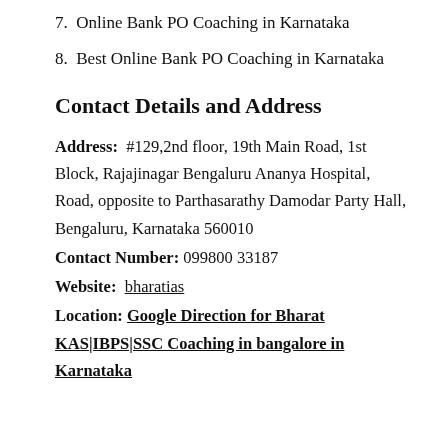7.  Online Bank PO Coaching in Karnataka
8.  Best Online Bank PO Coaching in Karnataka
Contact Details and Address
Address:  #129,2nd floor, 19th Main Road, 1st Block, Rajajinagar Bengaluru Ananya Hospital, Road, opposite to Parthasarathy Damodar Party Hall, Bengaluru, Karnataka 560010
Contact Number: 099800 33187
Website:  bharatias
Location: Google Direction for Bharat KAS|IBPS|SSC Coaching in bangalore in Karnataka